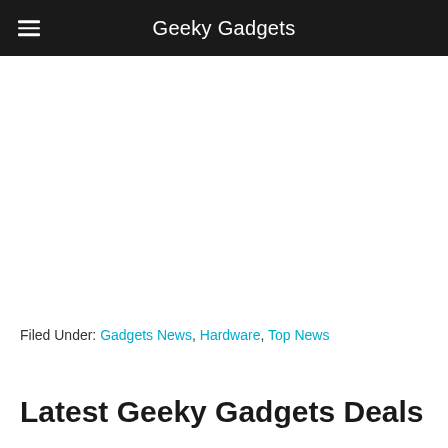Geeky Gadgets
Filed Under: Gadgets News, Hardware, Top News
Latest Geeky Gadgets Deals